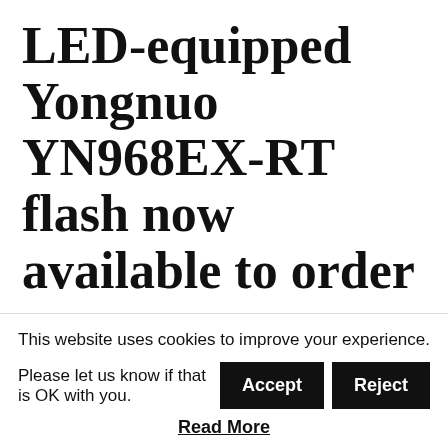LED-equipped Yongnuo YN968EX-RT flash now available to order
The Yongnuo YN968EX-RT flash with built-in LED lamp has been listed online for $150.
By David Selby   Fri 6th January 2017   News
This website uses cookies to improve your experience. Please let us know if that is OK with you.
Read More